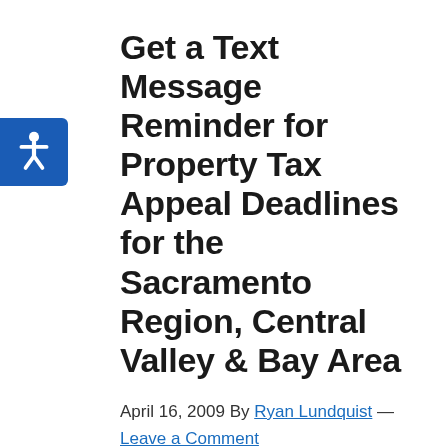Get a Text Message Reminder for Property Tax Appeal Deadlines for the Sacramento Region, Central Valley & Bay Area
April 16, 2009 By Ryan Lundquist — Leave a Comment
I just added a nifty feature on this website that will remind everyone of property tax appeal deadlines in surrounding counties. Let's face it, life is busy and it is sometimes difficult to stay on top of
[Figure (photo): Broken image placeholder for text-message-reminder-for-lowring-property-taxes-sacramento-region1]